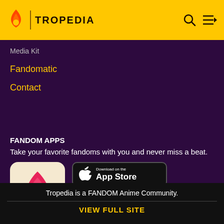TROPEDIA
Media Kit
Fandomatic
Contact
FANDOM APPS
Take your favorite fandoms with you and never miss a beat.
[Figure (logo): Fandom app icon: pink/red flame with yellow heart on cream background]
[Figure (screenshot): Download on the App Store button (black)]
[Figure (screenshot): Get it on Google Play button (black)]
Tropedia is a FANDOM Anime Community.
VIEW FULL SITE